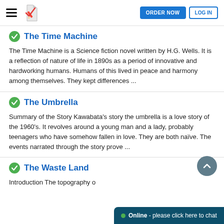ORDER NOW | LOG IN
The Time Machine
The Time Machine is a Science fiction novel written by H.G. Wells. It is a reflection of nature of life in 1890s as a period of innovative and hardworking humans. Humans of this lived in peace and harmony among themselves. They kept differences ...
The Umbrella
Summary of the Story Kawabata's story the umbrella is a love story of the 1960's. It revolves around a young man and a lady, probably teenagers who have somehow fallen in love. They are both naïve. The events narrated through the story prove ...
The Waste Land
Introduction The topography o